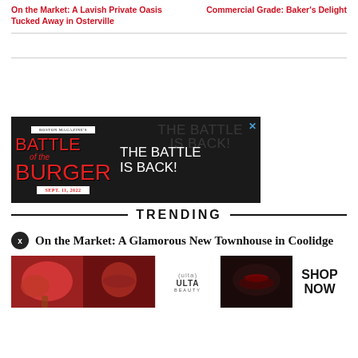On the Market: A Lavish Private Oasis Tucked Away in Osterville
Commercial Grade: Baker's Delight
[Figure (advertisement): Battle of the Burger advertisement: dark background with red and white text. Left side shows 'BATTLE of the BURGER' in bold red Impact font with a top ribbon reading 'BOSTON MAGAZINE'S' and bottom ribbon 'SEPT. 11, 2022'. Right side shows 'THE BATTLE IS BACK!' in white bold text with a watermark version in the background. Close button (X) in top right corner.]
TRENDING
On the Market: A Glamorous New Townhouse in Coolidge
[Figure (advertisement): Ulta Beauty advertisement banner showing makeup product images, models with dramatic eye makeup, Ulta Beauty logo in center, and SHOP NOW call to action on right side.]